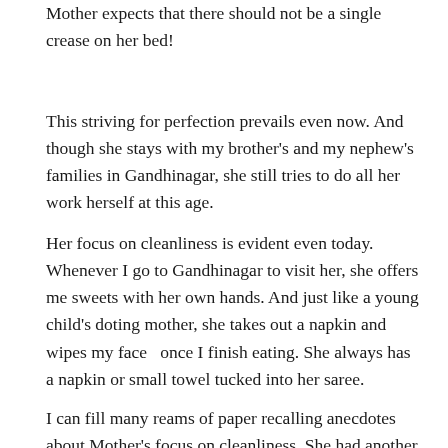Mother expects that there should not be a single crease on her bed!
This striving for perfection prevails even now. And though she stays with my brother's and my nephew's families in Gandhinagar, she still tries to do all her work herself at this age.
Her focus on cleanliness is evident even today. Whenever I go to Gandhinagar to visit her, she offers me sweets with her own hands. And just like a young child's doting mother, she takes out a napkin and wipes my face  once I finish eating. She always has a napkin or small towel tucked into her saree.
I can fill many reams of paper recalling anecdotes about Mother's focus on cleanliness. She had another quality – a deep respect for those involved        in cleaning and sanitation. I remember, whenever someone would come to